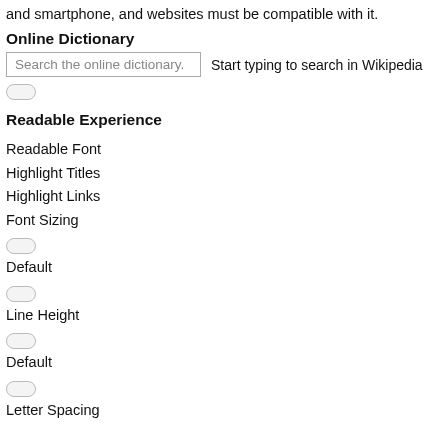and smartphone, and websites must be compatible with it.
Online Dictionary
[Figure (screenshot): Search input box with placeholder text 'Search the online dictionary.' followed by hint text 'Start typing to search in Wikipedia']
[Figure (other): Toggle switch button (off state)]
Readable Experience
Readable Font
Highlight Titles
Highlight Links
Font Sizing
[Figure (other): Toggle switch button (off state)]
Default
[Figure (other): Toggle switch button (off state)]
Line Height
[Figure (other): Toggle switch button (off state)]
Default
[Figure (other): Toggle switch button (off state)]
Letter Spacing